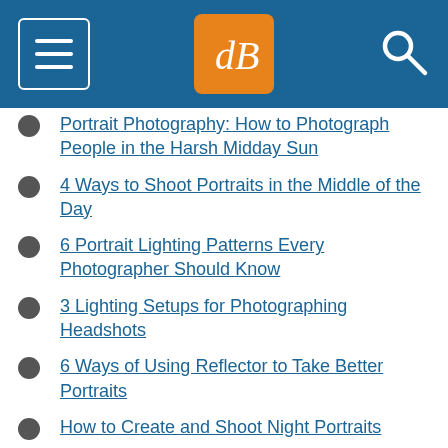[Figure (screenshot): Navigation bar with hamburger menu, dPS logo in orange square, and search icon on blue background]
Portrait Photography: How to Photograph People in the Harsh Midday Sun
4 Ways to Shoot Portraits in the Middle of the Day
6 Portrait Lighting Patterns Every Photographer Should Know
3 Lighting Setups for Photographing Headshots
6 Ways of Using Reflector to Take Better Portraits
How to Create and Shoot Night Portraits
How to Make Beautiful Portraits Using Flash and High-Speed Sync